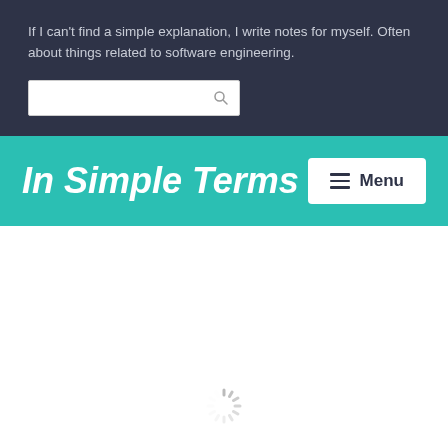If I can't find a simple explanation, I write notes for myself. Often about things related to software engineering.
In Simple Terms
[Figure (screenshot): Menu button with hamburger icon and 'Menu' label on white background]
[Figure (other): Loading spinner icon at bottom of white content area]